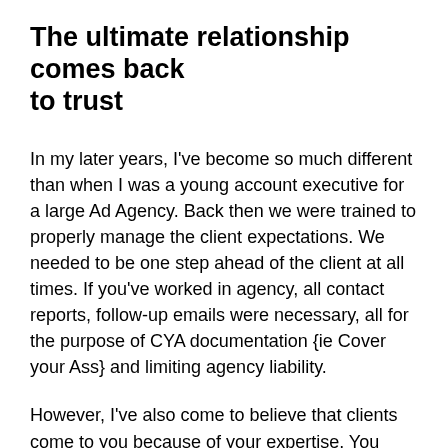The ultimate relationship comes back to trust
In my later years, I've become so much different than when I was a young account executive for a large Ad Agency. Back then we were trained to properly manage the client expectations. We needed to be one step ahead of the client at all times. If you've worked in agency, all contact reports, follow-up emails were necessary, all for the purpose of CYA documentation {ie Cover your Ass} and limiting agency liability.
However, I've also come to believe that clients come to you because of your expertise. You have something that no other agency has. People who hold the purse strings